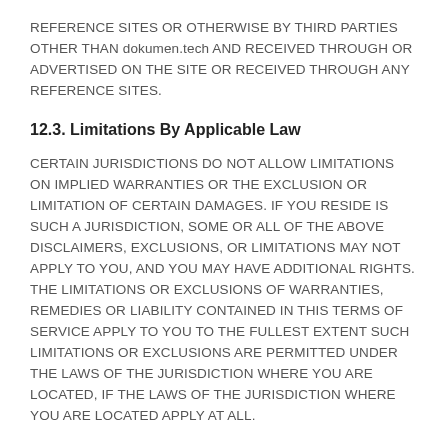REFERENCE SITES OR OTHERWISE BY THIRD PARTIES OTHER THAN dokumen.tech AND RECEIVED THROUGH OR ADVERTISED ON THE SITE OR RECEIVED THROUGH ANY REFERENCE SITES.
12.3. Limitations By Applicable Law
CERTAIN JURISDICTIONS DO NOT ALLOW LIMITATIONS ON IMPLIED WARRANTIES OR THE EXCLUSION OR LIMITATION OF CERTAIN DAMAGES. IF YOU RESIDE IS SUCH A JURISDICTION, SOME OR ALL OF THE ABOVE DISCLAIMERS, EXCLUSIONS, OR LIMITATIONS MAY NOT APPLY TO YOU, AND YOU MAY HAVE ADDITIONAL RIGHTS. THE LIMITATIONS OR EXCLUSIONS OF WARRANTIES, REMEDIES OR LIABILITY CONTAINED IN THIS TERMS OF SERVICE APPLY TO YOU TO THE FULLEST EXTENT SUCH LIMITATIONS OR EXCLUSIONS ARE PERMITTED UNDER THE LAWS OF THE JURISDICTION WHERE YOU ARE LOCATED, IF THE LAWS OF THE JURISDICTION WHERE YOU ARE LOCATED APPLY AT ALL.